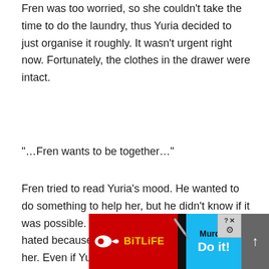Fren was too worried, so she couldn't take the time to do the laundry, thus Yuria decided to just organise it roughly. It wasn't urgent right now. Fortunately, the clothes in the drawer were intact.
“…Fren wants to be together…”
Fren tried to read Yuria’s mood. He wanted to do something to help her, but he didn’t know if it was possible. He was worried that he might be hated because he was constantly disturbing her. Even if Yuria said bad things to him, saying that it was useless, he would have nothing to say. Yuria, noticing that Fren’s expression darkened, bent down to meet his gaze.
“Fren is… they…
[Figure (screenshot): Advertisement banner for BitLife mobile game showing red left panel with BitLife logo and sperm icon, and blue right panel with 'Murder Do it!' text, with close and settings buttons, overlaying the page content.]